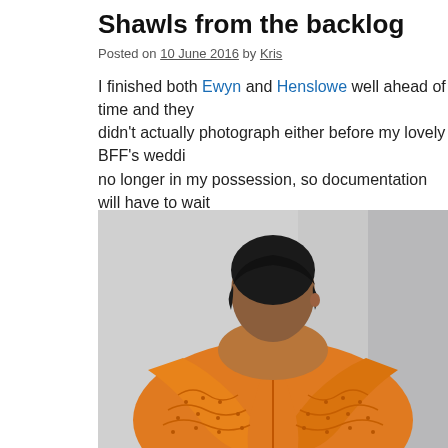Shawls from the backlog
Posted on 10 June 2016 by Kris
I finished both Ewyn and Henslowe well ahead of time and they didn't actually photograph either before my lovely BFF's wedding no longer in my possession, so documentation will have to wait
In the meantime, since I'm still playing FO catchup, here's a co
[Figure (photo): Person seen from behind wearing an orange lace knitted shawl, with short dark hair, against a light grey background.]